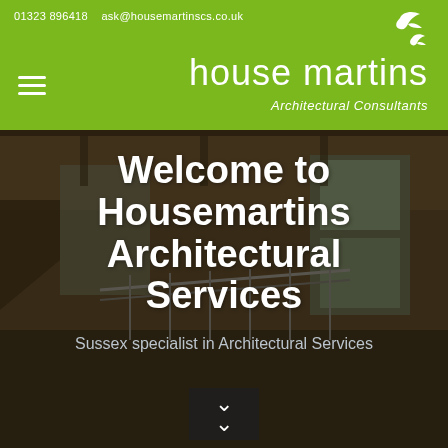01323 896418   ask@housemartinscs.co.uk
house martins
Architectural Consultants
[Figure (photo): Interior architectural rendering of a modern multi-level space with wood paneling, large windows, and staircase railing, with dark overlay]
Welcome to Housemartins Architectural Services
Sussex specialist in Architectural Services